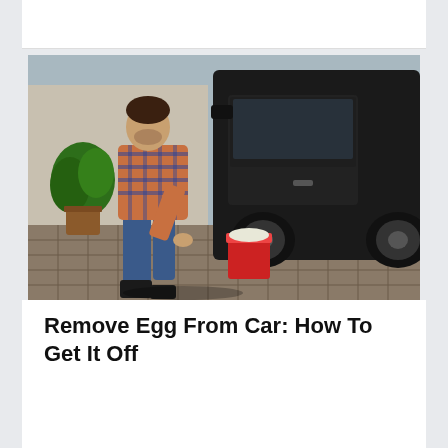[Figure (photo): A man in a plaid shirt bending over next to a dark SUV, dipping a cloth or sponge into a red bucket on a paved driveway, with a potted plant visible in the background.]
Remove Egg From Car: How To Get It Off